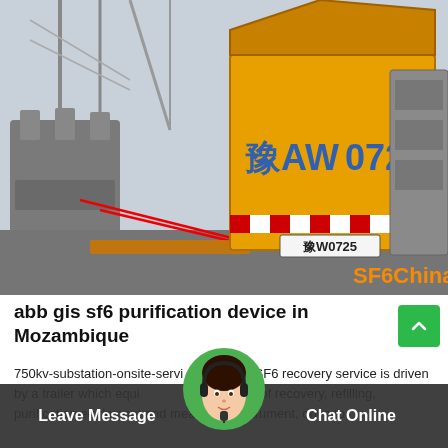[Figure (photo): Photo of a yellow SF6 gas recovery truck (license plate 豫AW0725) parked at a high-voltage electrical substation with transformers and equipment visible. The truck has red/white hazard stripes. A watermark 'SF6China' appears in orange at the bottom right.]
abb gis sf6 purification device in Mozambique
750kv-substation-onsite-service SF6 recovery service is driven by a trailer which equips our full set of recovery, refilling, purification equipment and measuring instrument, drive to